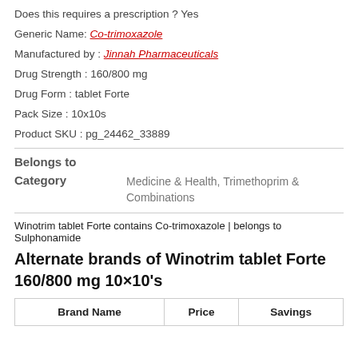Does this requires a prescription ? Yes
Generic Name: Co-trimoxazole
Manufactured by : Jinnah Pharmaceuticals
Drug Strength : 160/800 mg
Drug Form : tablet Forte
Pack Size : 10x10s
Product SKU : pg_24462_33889
Belongs to
Category    Medicine & Health, Trimethoprim & Combinations
Winotrim tablet Forte contains Co-trimoxazole | belongs to Sulphonamide
Alternate brands of Winotrim tablet Forte 160/800 mg 10×10's
| Brand Name | Price | Savings |
| --- | --- | --- |